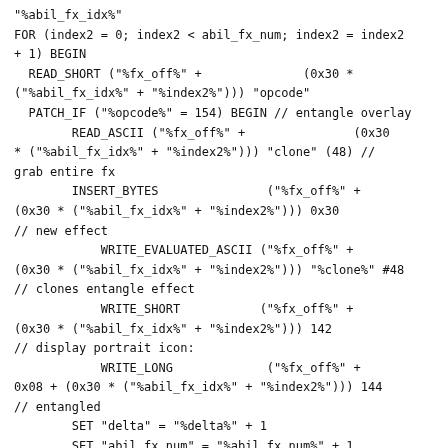"abil_fx_idx%"
FOR (index2 = 0; index2 < abil_fx_num; index2 = index2
+ 1) BEGIN
  READ_SHORT ("%fx_off%" +              (0x30 *
("%abil_fx_idx%" + "%index2%"))) "opcode"
  PATCH_IF ("%opcode%" = 154) BEGIN // entangle overlay
        READ_ASCII ("%fx_off%" +               (0x30
* ("%abil_fx_idx%" + "%index2%"))) "clone" (48) //
grab entire fx
        INSERT_BYTES               ("%fx_off%" +
(0x30 * ("%abil_fx_idx%" + "%index2%"))) 0x30
// new effect
            WRITE_EVALUATED_ASCII ("%fx_off%" +
(0x30 * ("%abil_fx_idx%" + "%index2%"))) "%clone%" #48
// clones entangle effect
            WRITE_SHORT           ("%fx_off%" +
(0x30 * ("%abil_fx_idx%" + "%index2%"))) 142
// display portrait icon:
            WRITE_LONG             ("%fx_off%" +
0x08 + (0x30 * ("%abil_fx_idx%" + "%index2%"))) 144
// entangled
        SET "delta" = "%delta%" + 1
        SET "abil_fx_num" = "%abil_fx_num%" + 1